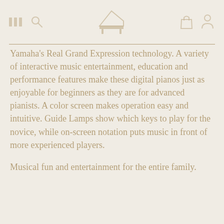Yamaha piano store navigation header
Yamaha's Real Grand Expression technology. A variety of interactive music entertainment, education and performance features make these digital pianos just as enjoyable for beginners as they are for advanced pianists. A color screen makes operation easy and intuitive. Guide Lamps show which keys to play for the novice, while on-screen notation puts music in front of more experienced players.
Musical fun and entertainment for the entire family.